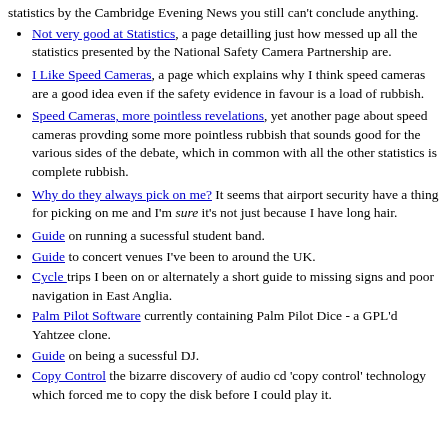statistics by the Cambridge Evening News you still can't conclude anything.
Not very good at Statistics, a page detailling just how messed up all the statistics presented by the National Safety Camera Partnership are.
I Like Speed Cameras, a page which explains why I think speed cameras are a good idea even if the safety evidence in favour is a load of rubbish.
Speed Cameras, more pointless revelations, yet another page about speed cameras provding some more pointless rubbish that sounds good for the various sides of the debate, which in common with all the other statistics is complete rubbish.
Why do they always pick on me? It seems that airport security have a thing for picking on me and I'm sure it's not just because I have long hair.
Guide on running a sucessful student band.
Guide to concert venues I've been to around the UK.
Cycle trips I been on or alternately a short guide to missing signs and poor navigation in East Anglia.
Palm Pilot Software currently containing Palm Pilot Dice - a GPL'd Yahtzee clone.
Guide on being a sucessful DJ.
Copy Control the bizarre discovery of audio cd 'copy control' technology which forced me to copy the disk before I could play it.